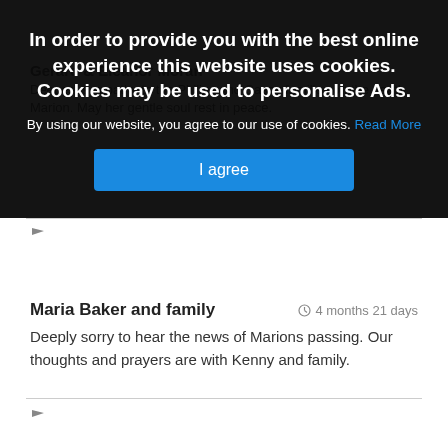In order to provide you with the best online experience this website uses cookies. Cookies may be used to personalise Ads.
By using our website, you agree to our use of cookies. Read More
I agree
Gerard & Eleanor Moran
Deepest sympathy to the Philips and Casey families on the death Marion. May her gentle soul rest in peace.
Maria Baker and family
4 months 21 days
Deeply sorry to hear the news of Marions passing. Our thoughts and prayers are with Kenny and family.